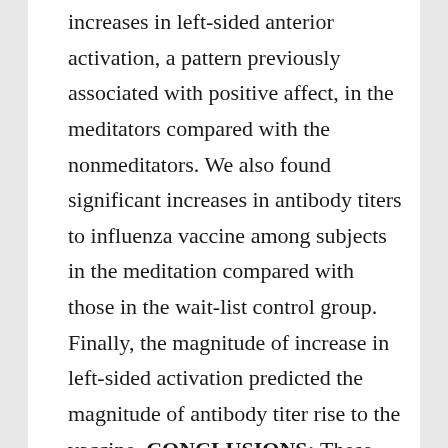increases in left-sided anterior activation, a pattern previously associated with positive affect, in the meditators compared with the nonmeditators. We also found significant increases in antibody titers to influenza vaccine among subjects in the meditation compared with those in the wait-list control group. Finally, the magnitude of increase in left-sided activation predicted the magnitude of antibody titer rise to the vaccine. CONCLUSIONS: These findings demonstrate that a short program in mindfulness meditation produces demonstrable effects on brain and immune function. These findings